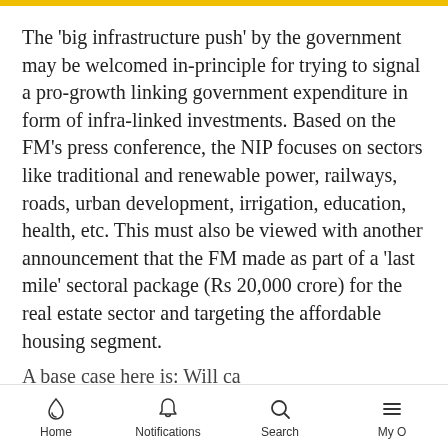The 'big infrastructure push' by the government may be welcomed in-principle for trying to signal a pro-growth linking government expenditure in form of infra-linked investments. Based on the FM's press conference, the NIP focuses on sectors like traditional and renewable power, railways, roads, urban development, irrigation, education, health, etc. This must also be viewed with another announcement that the FM made as part of a 'last mile' sectoral package (Rs 20,000 crore) for the real estate sector and targeting the affordable housing segment.
Home | Notifications | Search | My O